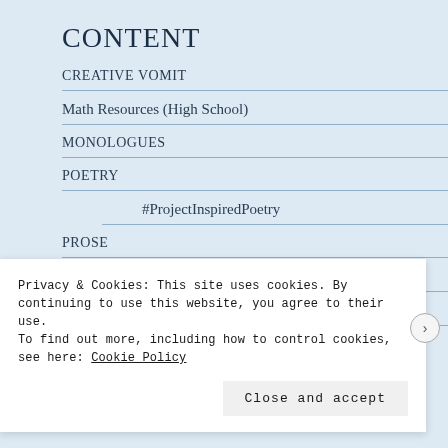CONTENT
CREATIVE VOMIT
Math Resources (High School)
MONOLOGUES
POETRY
#ProjectInspiredPoetry
PROSE
Essays
Stories
STUDY NOTES
Privacy & Cookies: This site uses cookies. By continuing to use this website, you agree to their use.
To find out more, including how to control cookies, see here: Cookie Policy
Close and accept